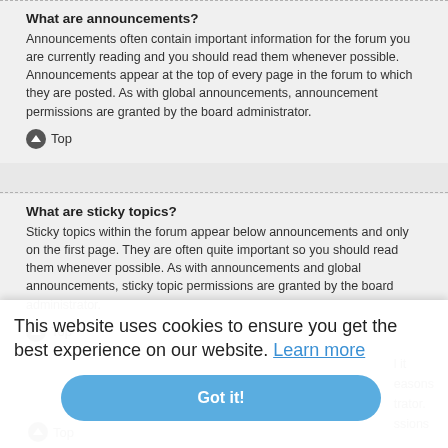What are announcements?
Announcements often contain important information for the forum you are currently reading and you should read them whenever possible. Announcements appear at the top of every page in the forum to which they are posted. As with global announcements, announcement permissions are granted by the board administrator.
Top
What are sticky topics?
Sticky topics within the forum appear below announcements and only on the first page. They are often quite important so you should read them whenever possible. As with announcements and global announcements, sticky topic permissions are granted by the board administrator.
Top
This website uses cookies to ensure you get the best experience on our website. Learn more
Got it!
l it
easons
trator.
ssions
Top